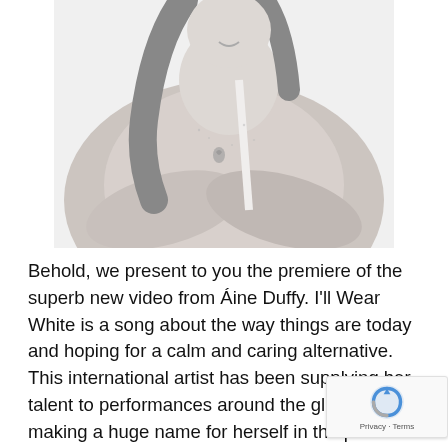[Figure (photo): Black and white close-up photo of a woman with long dark hair, looking down slightly, arms crossed over her chest, wearing a white top, with a small tattoo visible on her chest]
Behold, we present to you the premiere of the superb new video from Áine Duffy. I'll Wear White is a song about the way things are today and hoping for a calm and caring alternative. This international artist has been supplying her talent to performances around the globe, and making a huge name for herself in the process. Music fans have been treated to a slice of Irish magic in places like